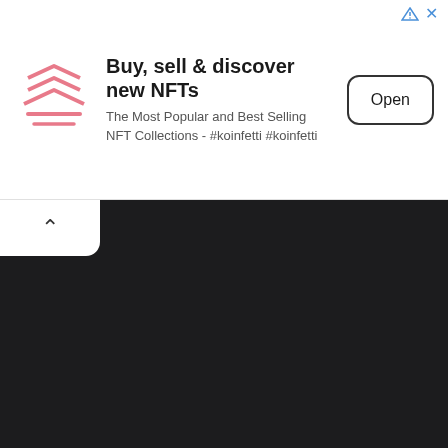[Figure (screenshot): Mobile advertisement banner for Koinfetti NFT marketplace. Shows a pink/rose Koinfetti logo on left, headline 'Buy, sell & discover new NFTs', subtext 'The Most Popular and Best Selling NFT Collections - #koinfetti #koinfetti', and an 'Open' button on the right. Ad controls (sponsored triangle icon and X close button) appear in top-right corner. Below the banner is a dark (near-black) background area with a small white rounded tab in the top-left showing an upward chevron arrow.]